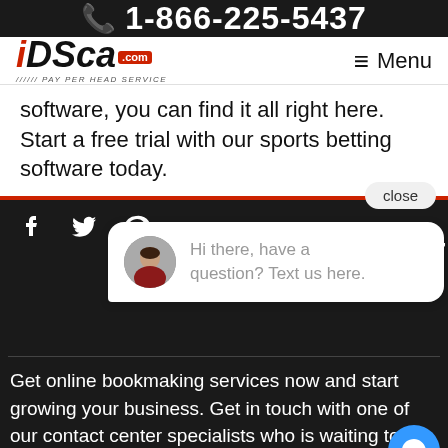📞 1-866-225-5437
[Figure (logo): iDSca.com #1888 Pay Per Head Service logo with red accent]
software, you can find it all right here. Start a free trial with our sports betting software today.
close
Hi there, have a question? Text us here.
Get online bookmaking services now and start growing your business. Get in touch with one of our contact center specialists who is waiting to answer